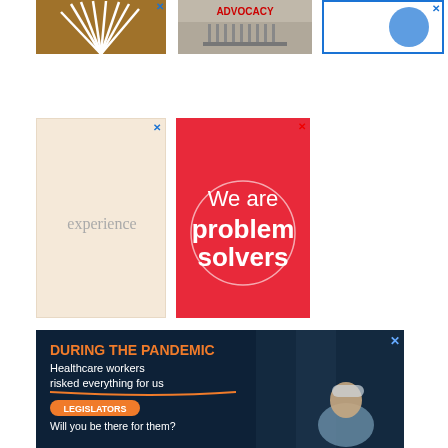[Figure (illustration): Brown/tan ad with white feather/fan logo on brown background]
[Figure (illustration): Red 'ADVOCACY' text ad with building/columns image in grey tones]
[Figure (illustration): White ad with blue border, partial blue circular logo visible]
[Figure (illustration): Beige/cream ad with grey 'experience' text on light background]
[Figure (illustration): Red ad with white text 'We are problem solvers' with circular design]
[Figure (illustration): Dark navy blue ad with photo of healthcare worker. Orange bold text: DURING THE PANDEMIC. White text: Healthcare workers risked everything for us. Orange underline. Orange pill-shaped tag: LEGISLATORS. White text: Will you be there for them? Photo of nurse/healthcare worker looking up.]